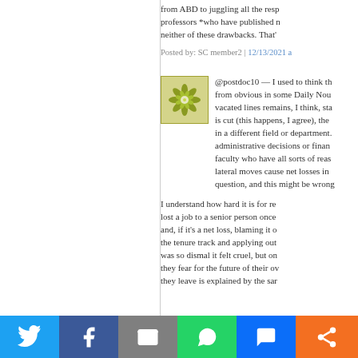from ABD to juggling all the resp professors *who have published n neither of these drawbacks. That'
Posted by: SC member2 | 12/13/2021 a
[Figure (illustration): Green and white decorative snowflake/mandala avatar icon on light yellow background]
@postdoc10 — I used to think th from obvious in some Daily Nou vacated lines remains, I think, sta is cut (this happens, I agree), the in a different field or department. administrative decisions or finan faculty who have all sorts of reas lateral moves cause net losses in question, and this might be wrong
I understand how hard it is for re lost a job to a senior person once and, if it's a net loss, blaming it o the tenure track and applying out was so dismal it felt cruel, but on they fear for the future of their ov they leave is explained by the sar